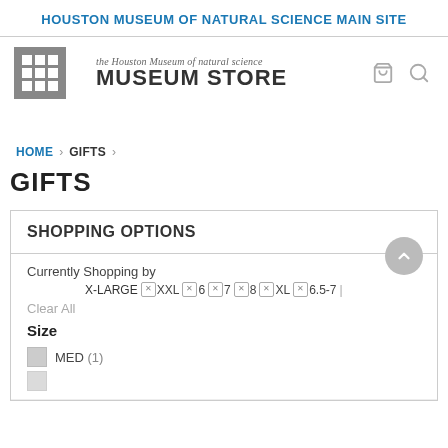HOUSTON MUSEUM OF NATURAL SCIENCE MAIN SITE
[Figure (logo): Houston Museum of Natural Science Museum Store logo with menu icon, cart, and search icons]
HOME > GIFTS >
GIFTS
SHOPPING OPTIONS
Currently Shopping by X-LARGE XXL 6 7 8 XL 6.5-7
Clear All
Size
MED (1)